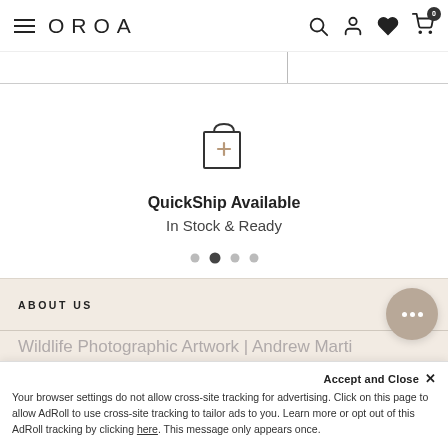OROA
[Figure (illustration): Shopping bag icon with a plus sign, representing QuickShip feature]
QuickShip Available
In Stock & Ready
[Figure (infographic): Carousel navigation dots, second dot active]
ABOUT US
Wildlife Photographic Artwork | Andrew Marti...
Accept and Close ×
Your browser settings do not allow cross-site tracking for advertising. Click on this page to allow AdRoll to use cross-site tracking to tailor ads to you. Learn more or opt out of this AdRoll tracking by clicking here. This message only appears once.